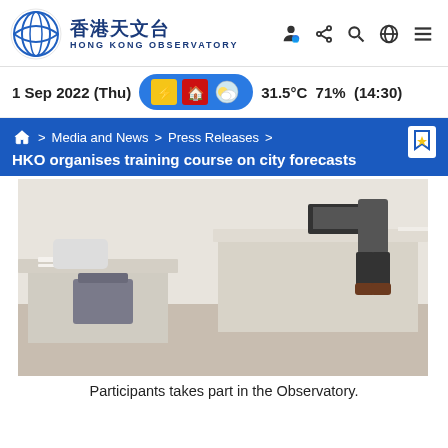香港天文台 HONG KONG OBSERVATORY
1 Sep 2022 (Thu)  31.5°C  71%  (14:30)
Media and News > Press Releases > HKO organises training course on city forecasts
[Figure (photo): Participants seated and standing at desks in a training room at the Observatory.]
Participants takes part in the Observatory.